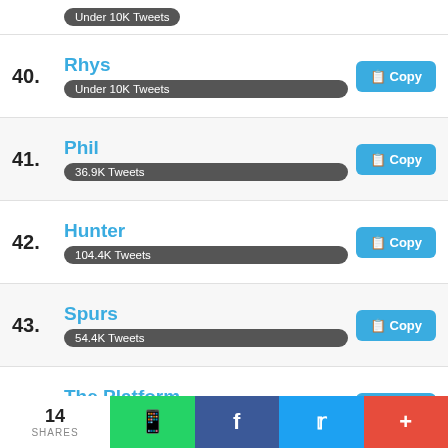40. Rhys — Under 10K Tweets
41. Phil — 36.9K Tweets
42. Hunter — 104.4K Tweets
43. Spurs — 54.4K Tweets
44. The Platform — 155.1K Tweets
45. Janet — 13.3K Tweets
46. Canterbury
14 SHARES